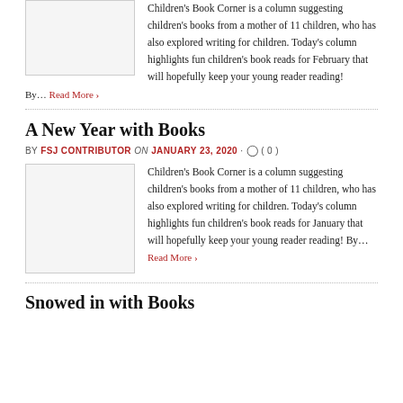Children's Book Corner is a column suggesting children's books from a mother of 11 children, who has also explored writing for children. Today's column highlights fun children's book reads for February that will hopefully keep your young reader reading! By… Read More ›
By… Read More ›
A New Year with Books
BY FSJ CONTRIBUTOR on JANUARY 23, 2020 · ( 0 )
Children's Book Corner is a column suggesting children's books from a mother of 11 children, who has also explored writing for children. Today's column highlights fun children's book reads for January that will hopefully keep your young reader reading! By… Read More ›
Snowed in with Books